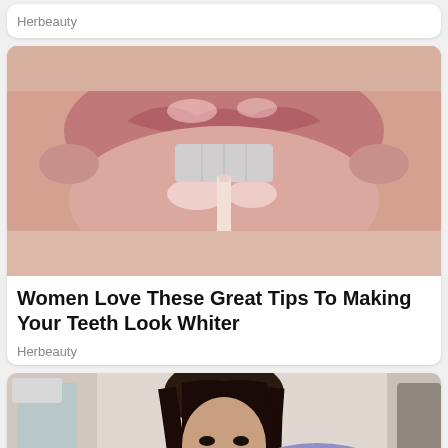Herbeauty
[Figure (photo): Close-up photo of glossy lips slightly parted showing teeth, with a lip product applicator touching the lower lip]
Women Love These Great Tips To Making Your Teeth Look Whiter
Herbeauty
[Figure (photo): Photo of a young woman with long dark hair holding a bouquet of blue roses in what appears to be a bedroom setting]